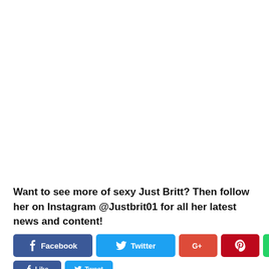Want to see more of sexy Just Britt? Then follow her on Instagram @Justbrit01 for all her latest news and content!
[Figure (screenshot): Social sharing buttons row: Facebook, Twitter, Google+, Pinterest, WhatsApp icons/buttons]
[Figure (screenshot): Partial second row of social buttons: Like and Tweet buttons partially visible]